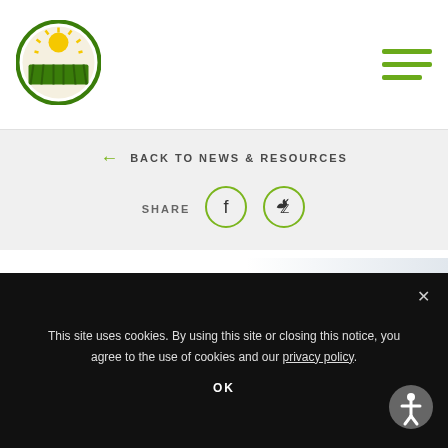[Figure (logo): NCIA (National Cannabis Industry Association) circular logo with green border, sun rays and green plant/field imagery]
[Figure (other): Hamburger menu icon with three horizontal green lines]
← BACK TO NEWS & RESOURCES
SHARE
[Figure (other): Facebook share button - circle with f icon]
[Figure (other): Twitter share button - circle with bird icon]
[Figure (other): NCIA's Cannabis Industry Voice banner logo with CannabisRadio.com presented by label]
Cannabis Experts
This site uses cookies. By using this site or closing this notice, you agree to the use of cookies and our privacy policy.
OK